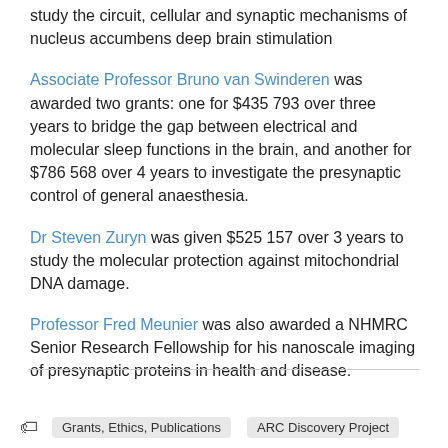study the circuit, cellular and synaptic mechanisms of nucleus accumbens deep brain stimulation
Associate Professor Bruno van Swinderen was awarded two grants: one for $435 793 over three years to bridge the gap between electrical and molecular sleep functions in the brain, and another for $786 568 over 4 years to investigate the presynaptic control of general anaesthesia.
Dr Steven Zuryn was given $525 157 over 3 years to study the molecular protection against mitochondrial DNA damage.
Professor Fred Meunier was also awarded a NHMRC Senior Research Fellowship for his nanoscale imaging of presynaptic proteins in health and disease.
Grants, Ethics, Publications   ARC Discovery Project